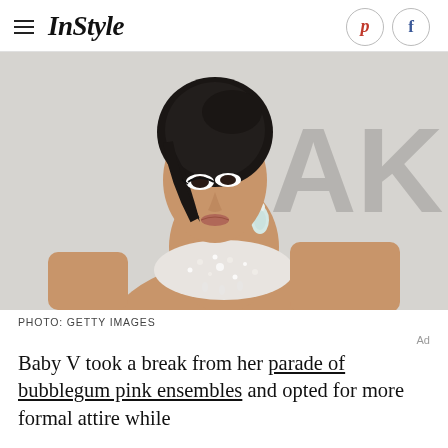InStyle
[Figure (photo): A woman with dark hair in an updo, wearing a heavily embellished crystal/pearl neckline gown, photographed against a light background with partial text 'AK' visible.]
PHOTO: GETTY IMAGES
Baby V took a break from her parade of bubblegum pink ensembles and opted for more formal attire while